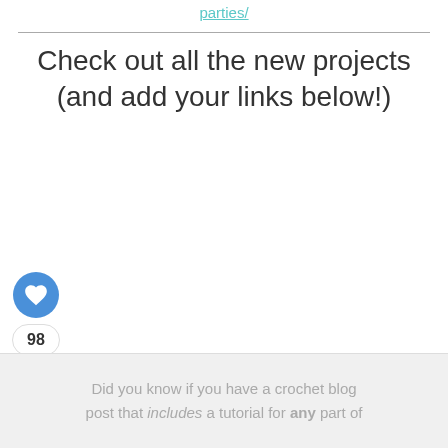parties/
Check out all the new projects (and add your links below!)
[Figure (infographic): Social media sidebar with heart/like button (blue circle with white heart icon), a count of 98, and a share button (white circle with share icon)]
WHAT'S NEXT → Crochet Patterns fro...
Did you know if you have a crochet blog post that includes a tutorial for any part of